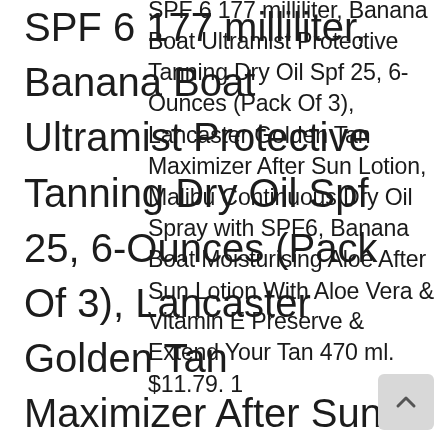SPF 6 177 milliliter, Banana Boat Ultramist Protective Tanning Dry Oil Spf 25, 6-Ounces (Pack Of 3), Lancaster Golden Tan Maximizer After Sun Lotion, Malibu Continuous Dry Oil Spray with SPF6, Banana Boat Moisturising Aloe After Sun Lotion With Aloe Vera & Vitamin E Preserve & Extend Your Tan 470 ml. $11.79. 1